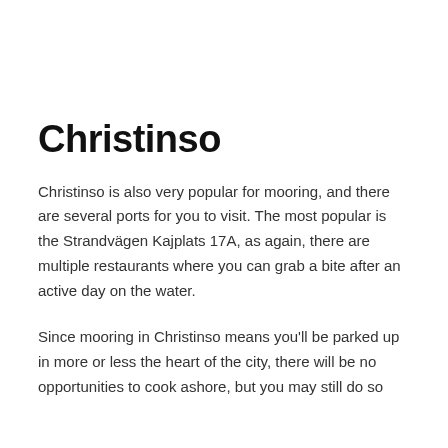Christinso
Christinso is also very popular for mooring, and there are several ports for you to visit. The most popular is the Strandvägen Kajplats 17A, as again, there are multiple restaurants where you can grab a bite after an active day on the water.
Since mooring in Christinso means you'll be parked up in more or less the heart of the city, there will be no opportunities to cook ashore, but you may still do so